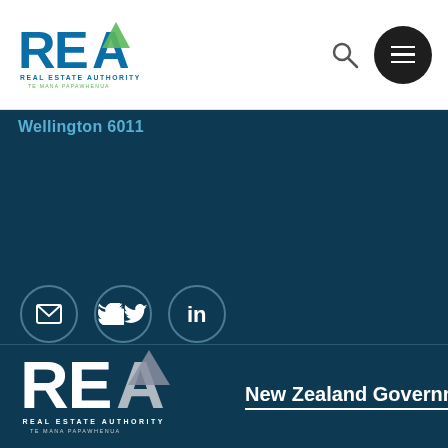[Figure (logo): REA Real Estate Authority Te Mana Papawhenua logo in color (blue/green) in top white header bar]
Wellington 6011
[Figure (logo): Email icon circle, Twitter bird icon circle, LinkedIn 'in' icon circle - social media icons on dark blue background]
[Figure (logo): REA Real Estate Authority Te Mana Papawhenua logo in white/grey on dark blue background]
[Figure (logo): New Zealand Government logo in white text with underline on dark blue background]